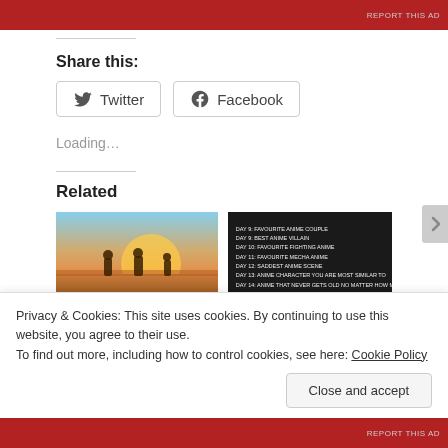[Figure (other): Red advertisement banner at top of page with 'REPORT THIS AD' text]
Share this:
[Figure (other): Twitter and Facebook share buttons]
Loading...
Related
[Figure (photo): Anime scene with characters standing in a desert landscape at sunset]
[Figure (other): Dark background with list of anime-related text lines]
Privacy & Cookies: This site uses cookies. By continuing to use this website, you agree to their use. To find out more, including how to control cookies, see here: Cookie Policy
Close and accept